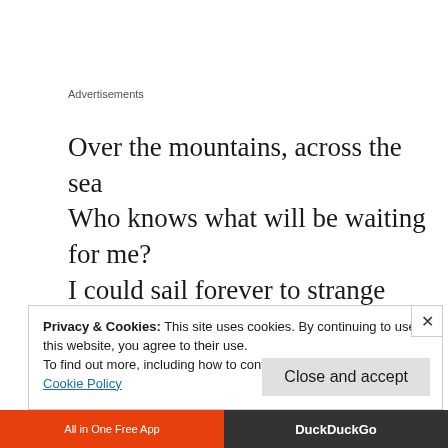Advertisements
Over the mountains, across the sea
Who knows what will be waiting for me?
I could sail forever to strange sounding names
Faces of people and places don’t change
All I have to do is just close my eyes
Privacy & Cookies: This site uses cookies. By continuing to use this website, you agree to their use.
To find out more, including how to control cookies, see here:
Cookie Policy
Close and accept
All in One Free App
DuckDuckGo